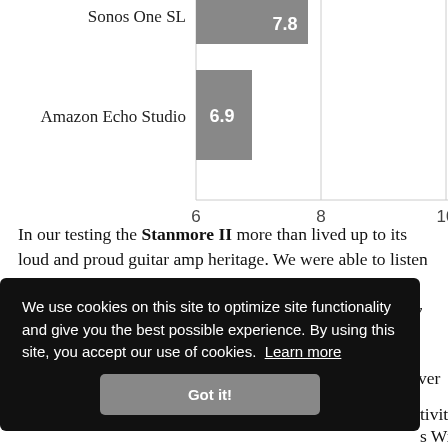[Figure (bar-chart): Speaker ratings]
In our testing the Stanmore II more than lived up to its loud and proud guitar amp heritage. We were able to listen to the Stanmore II in a large apartment with 10 people inside it, and still feel like the maximum volume was way too loud.
We use cookies on this site to optimize site functionality and give you the best possible experience. By using this site, you accept our use of cookies. Learn more
Got it!